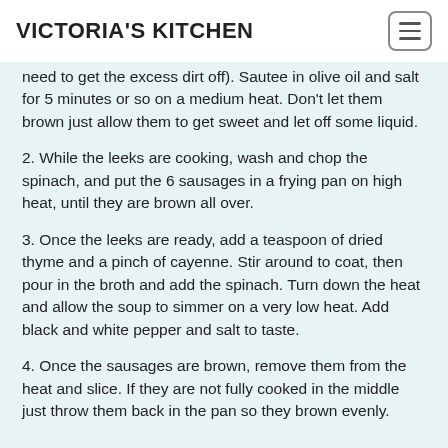VICTORIA'S KITCHEN
need to get the excess dirt off). Sautee in olive oil and salt for 5 minutes or so on a medium heat. Don't let them brown just allow them to get sweet and let off some liquid.
2. While the leeks are cooking, wash and chop the spinach, and put the 6 sausages in a frying pan on high heat, until they are brown all over.
3. Once the leeks are ready, add a teaspoon of dried thyme and a pinch of cayenne. Stir around to coat, then pour in the broth and add the spinach. Turn down the heat and allow the soup to simmer on a very low heat. Add black and white pepper and salt to taste.
4. Once the sausages are brown, remove them from the heat and slice. If they are not fully cooked in the middle just throw them back in the pan so they brown evenly.